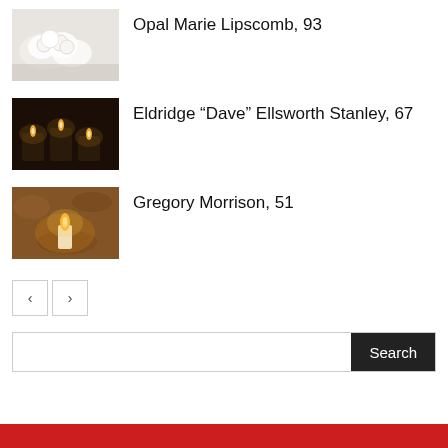[Figure (photo): White roses/flowers on a surface - obituary thumbnail]
Opal Marie Lipscomb, 93
[Figure (photo): Candles burning in dark setting - obituary thumbnail]
Eldridge “Dave” Ellsworth Stanley, 67
[Figure (photo): Single white candle burning against stone wall - obituary thumbnail]
Gregory Morrison, 51
< >
Search